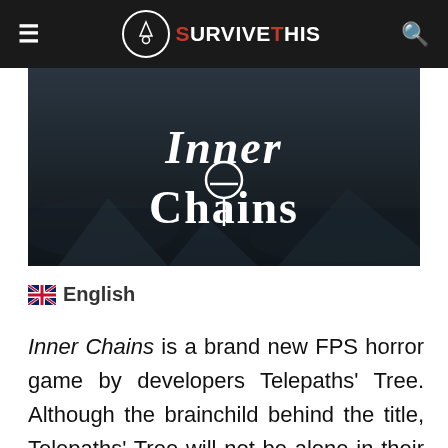SurviveThis
[Figure (photo): Dark atmospheric game title image showing 'Inner Chains' logo text in white gothic font against a dark stone/debris background]
🇬🇧 English
Inner Chains is a brand new FPS horror game by developers Telepaths' Tree. Although the brainchild behind the title, Telepaths' Tree will not be alone in their endeavor and have managed to gain publishing support from